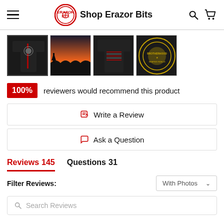Shop Erazor Bits
[Figure (photo): Four product thumbnail images of military-themed t-shirts]
100% reviewers would recommend this product
Write a Review
Ask a Question
Reviews 145   Questions 31
Filter Reviews:
Search Reviews